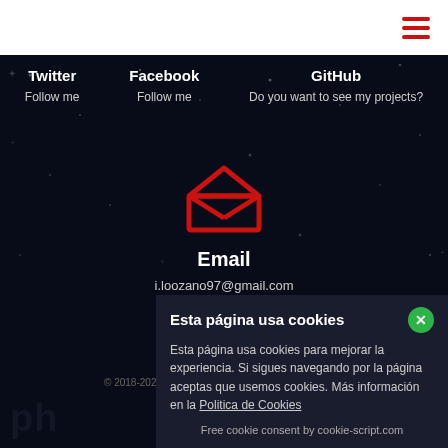Navigation bar with hamburger menu icon
Twitter
Follow me
Facebook
Follow me
GitHub
Do you want to see my projects?
[Figure (illustration): Red open envelope / email icon]
Email
i.loozano97@gmail.com
© 2018-2021 Isaac Lozano Pacheco
Esta página usa cookies
Esta página usa cookies para mejorar la experiencia. Si sigues navegando por la página aceptas que usemos cookies. Más información en la Politica de Cookies
Free cookie consent by cookie-script.com